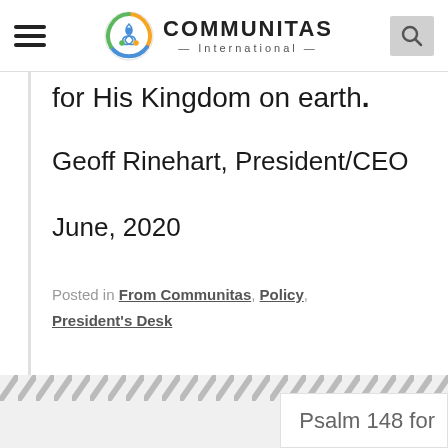COMMUNITAS International
for His Kingdom on earth.
Geoff Rinehart, President/CEO
June, 2020
Posted in From Communitas, Policy, President's Desk
Psalm 148 for